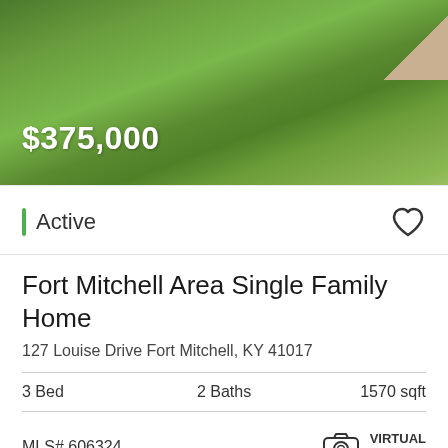[Figure (photo): Exterior photo of property showing green lawn with a lamp post in background. Price overlay $375,000 shown in white text.]
$375,000
Active
Fort Mitchell Area Single Family Home
127 Louise Drive Fort Mitchell, KY 41017
3 Bed    2 Baths    1570 sqft
MLS# 606324
VIRTUAL TOUR
Listing Courtesy of NORTHERN KENTUCKY / Anderson / Jennifer Hemmelgarn